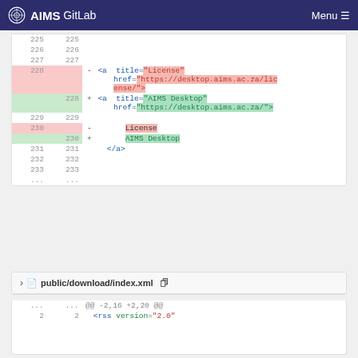AIMS GitLab  Menu
[Figure (screenshot): Git diff view showing code changes in a file. Lines 225-233 shown with deletions and additions: line 228 removes <a title="License" href="https://desktop.aims.ac.za/license/">, adds <a title="AIMS Desktop" href="https://desktop.aims.ac.za/">. Line 230 removes text 'License', adds 'AIMS Desktop'. Line 231 shows </a>. Followed by second file header: public/download/index.xml with diff hunk @@ -2,16 +2,20 @@ and line 2 showing <rss version="2.0".]
public/download/index.xml